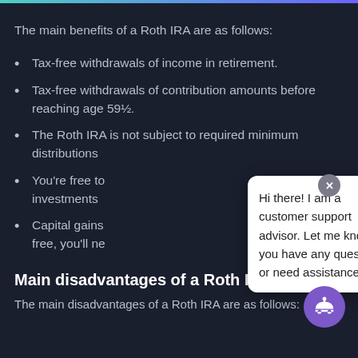The main benefits of a Roth IRA are as follows:
Tax-free withdrawals of income in retirement.
Tax-free withdrawals of contribution amounts before reaching age 59½.
The Roth IRA is not subject to required minimum distributions
You're free to [change your] investments
Capital gains [are tax-] free, you'll ne[ed to...]
[Figure (screenshot): Chat support popup overlay showing message: Hi there! I am a customer support advisor. Let me know if you have any questions or need assistance, ok? with a close X button and a purple bot icon button]
Main disadvantages of a Roth IRA
The main disadvantages of a Roth IRA are as follows: